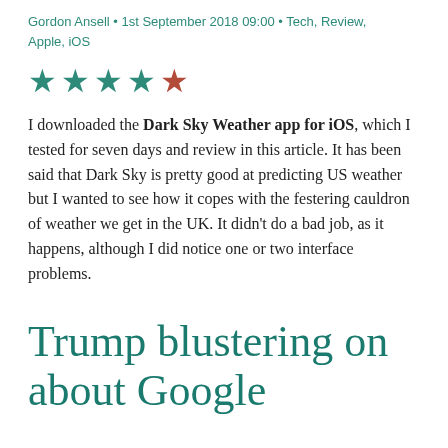Gordon Ansell • 1st September 2018 09:00 • Tech, Review, Apple, iOS
[Figure (other): 4 filled teal stars and 1 red/brown star (star rating: 4 out of 5)]
I downloaded the Dark Sky Weather app for iOS, which I tested for seven days and review in this article. It has been said that Dark Sky is pretty good at predicting US weather but I wanted to see how it copes with the festering cauldron of weather we get in the UK. It didn't do a bad job, as it happens, although I did notice one or two interface problems.
Trump blustering on about Google